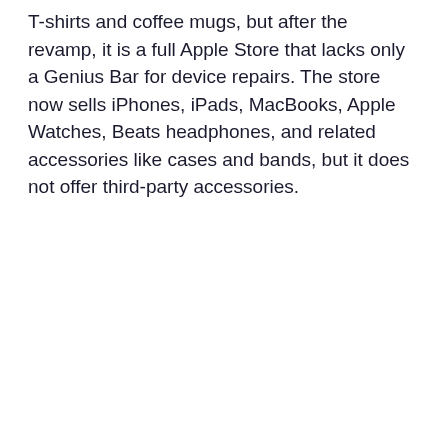T-shirts and coffee mugs, but after the revamp, it is a full Apple Store that lacks only a Genius Bar for device repairs. The store now sells iPhones, iPads, MacBooks, Apple Watches, Beats headphones, and related accessories like cases and bands, but it does not offer third-party accessories.